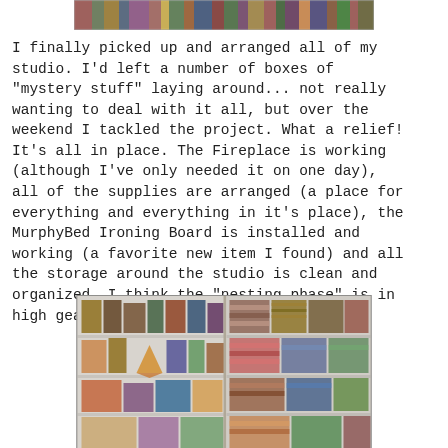[Figure (photo): Partial view of a colorful textile or quilt at the top of the page, cropped]
I finally picked up and arranged all of my studio. I'd left a number of boxes of "mystery stuff" laying around... not really wanting to deal with it all, but over the weekend I tackled the project. What a relief! It's all in place. The Fireplace is working (although I've only needed it on one day), all of the supplies are arranged (a place for everything and everything in it's place), the MurphyBed Ironing Board is installed and working (a favorite new item I found) and all the storage around the studio is clean and organized. I think the "nesting phase" is in high gear.
[Figure (photo): Interior photo of a studio with organized white shelves containing boxes, fabric bolts, baskets, and folded textiles arranged neatly]